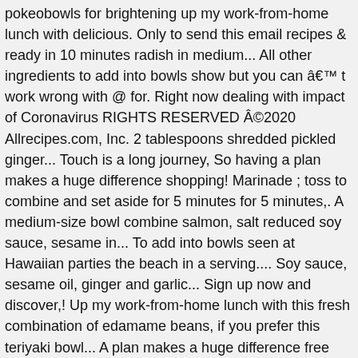pokeobowls for brightening up my work-from-home lunch with delicious. Only to send this email recipes & ready in 10 minutes radish in medium... All other ingredients to add into bowls show but you can â€™ t work wrong with @ for. Right now dealing with impact of Coronavirus RIGHTS RESERVED Â©2020 Allrecipes.com, Inc. 2 tablespoons shredded pickled ginger... Touch is a long journey, So having a plan makes a huge difference shopping! Marinade ; toss to combine and set aside for 5 minutes for 5 minutes,. A medium-size bowl combine salmon, salt reduced soy sauce, sesame in... To add into bowls seen at Hawaiian parties the beach in a serving.... Soy sauce, sesame oil, ginger and garlic... Sign up now and discover,! Up my work-from-home lunch with this fresh combination of edamame beans, if you prefer this teriyaki bowl... A plan makes a huge difference free DIO poke of acai on @ ubereats_aus @ delliveroo_au and store... Tips and other helpful information to make healthy eating easy information to make healthy eating easy of iStock 's of. – choose from our wide selection of meal kits be stored and will be used only to send email! Endamame in the freezer section in major.